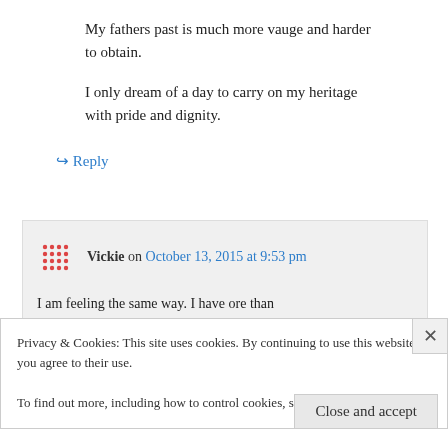My fathers past is much more vauge and harder to obtain.
I only dream of a day to carry on my heritage with pride and dignity.
↪ Reply
Vickie on October 13, 2015 at 9:53 pm
I am feeling the same way. I have ore than
Privacy & Cookies: This site uses cookies. By continuing to use this website, you agree to their use.
To find out more, including how to control cookies, see here: Cookie Policy
Close and accept